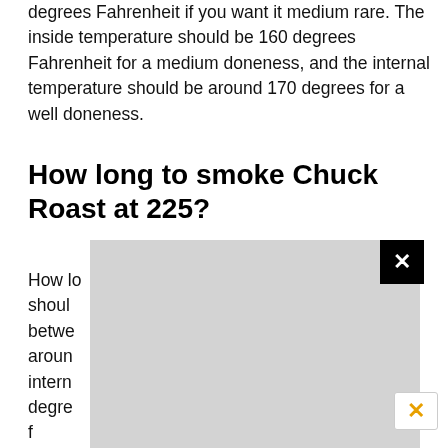degrees Fahrenheit if you want it medium rare. The inside temperature should be 160 degrees Fahrenheit for a medium doneness, and the internal temperature should be around 170 degrees for a well doneness.
How long to smoke Chuck Roast at 225?
How long to smoke chuck roast in the oven? You should cook at a temperature between ... for around ... the internal ... 190 degrees ... e the roast f... 0 degre...